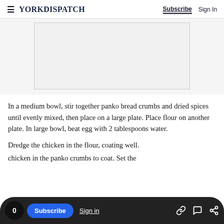YORK DISPATCH  Subscribe  Sign In
[Figure (other): Advertisement placeholder block, light gray rectangle with border]
In a medium bowl, stir together panko bread crumbs and dried spices until evenly mixed, then place on a large plate. Place flour on another plate. In large bowl, beat egg with 2 tablespoons water.
Dredge the chicken in the flour, coating well.
chicken in the panko crumbs to coat. Set the